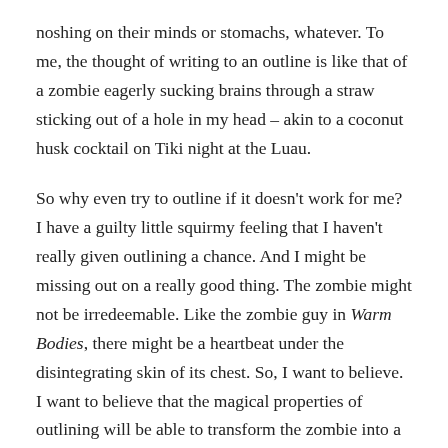noshing on their minds or stomachs, whatever. To me, the thought of writing to an outline is like that of a zombie eagerly sucking brains through a straw sticking out of a hole in my head – akin to a coconut husk cocktail on Tiki night at the Luau.
So why even try to outline if it doesn't work for me? I have a guilty little squirmy feeling that I haven't really given outlining a chance. And I might be missing out on a really good thing. The zombie might not be irredeemable. Like the zombie guy in Warm Bodies, there might be a heartbeat under the disintegrating skin of its chest. So, I want to believe. I want to believe that the magical properties of outlining will be able to transform the zombie into a hot guy, uh, I mean, into a useful member of society (no, I really meant hot guy). I'm going to try outlining my third novel to the Synemancer trilogy (tentatively titled Dark Syns). And if I have any brain matter left after that, I'll call it a success and be enlightened